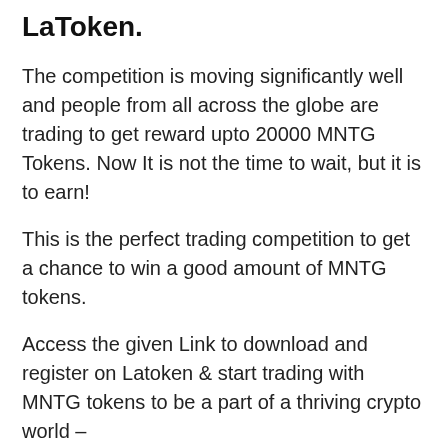LaToken.
The competition is moving significantly well and people from all across the globe are trading to get reward upto 20000 MNTG Tokens. Now It is not the time to wait, but it is to earn!
This is the perfect trading competition to get a chance to win a good amount of MNTG tokens.
Access the given Link to download and register on Latoken & start trading with MNTG tokens to be a part of a thriving crypto world – https://latoken.com/invite?r=ae4xhjii
Apart from, trading competition, you can also earn